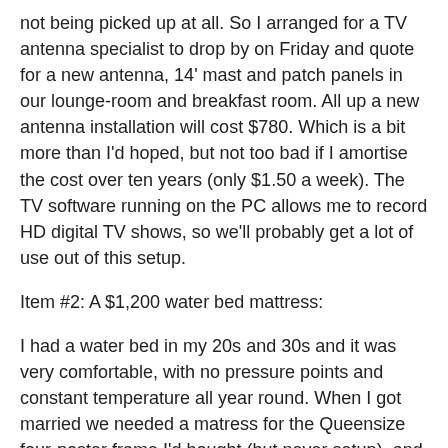not being picked up at all. So I arranged for a TV antenna specialist to drop by on Friday and quote for a new antenna, 14' mast and patch panels in our lounge-room and breakfast room. All up a new antenna installation will cost $780. Which is a bit more than I'd hoped, but not too bad if I amortise the cost over ten years (only $1.50 a week). The TV software running on the PC allows me to record HD digital TV shows, so we'll probably get a lot of use out of this setup.
Item #2: A $1,200 water bed mattress:
I had a water bed in my 20s and 30s and it was very comfortable, with no pressure points and constant temperature all year round. When I got married we needed a matress for the Queensize four-poster frame I'd bought (but never setup), and DW was adamant that we get a standard mattress. After 8 years it's now time to replace that matress and we've decided to go with a water bed matress this time. The main reason is that my eczema has been getting worse for the past few years, and a recent visit ($200!) to a specialist confirmed that a water bed would be a good way to minimise exposure to dust mites (which I'm highly allergic